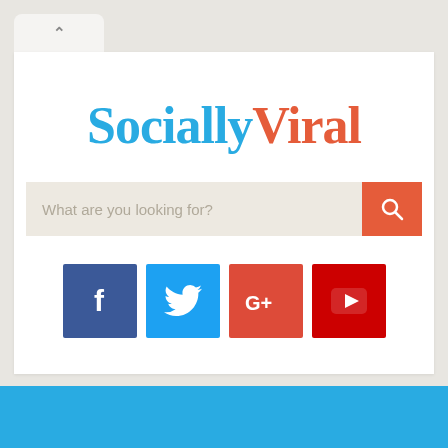[Figure (screenshot): Browser tab with up-arrow caret icon]
[Figure (logo): SociallyViral logo with 'Socially' in blue and 'Viral' in orange-red]
What are you looking for?
[Figure (infographic): Social media icon buttons: Facebook (dark blue), Twitter (light blue), Google+ (red-orange), YouTube (red)]
[Figure (other): Solid cyan/sky-blue footer bar]